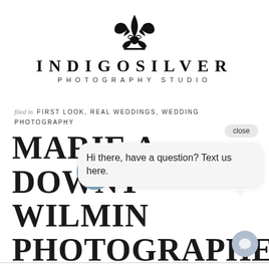[Figure (logo): Indigo Silver Photography Studio logo with fleur-de-lis symbol above the brand name]
filed in FIRST LOOK, REAL WEDDINGS, WEDDING PHOTOGRAPHY
MARIE A... DOWNT... WILMIN... PHOTOGRAPHERS
[Figure (screenshot): Chat popup bubble with avatar photo showing a couple, text: Hi there, have a question? Text us here. With a close button and chat icon.]